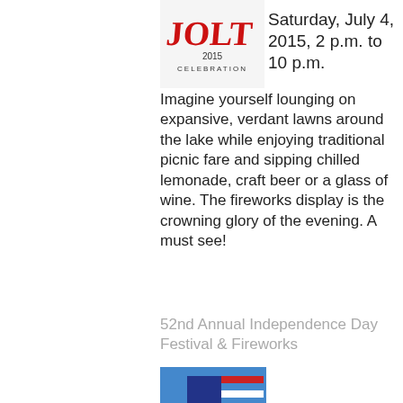[Figure (logo): JOLT 2015 Celebration logo in red script with year and text below]
Saturday, July 4, 2015, 2 p.m. to 10 p.m.
Imagine yourself lounging on expansive, verdant lawns around the lake while enjoying traditional picnic fare and sipping chilled lemonade, craft beer or a glass of wine. The fireworks display is the crowning glory of the evening. A must see!
52nd Annual Independence Day Festival & Fireworks
[Figure (photo): Vintage microphone in foreground with American flag in background on blue sky]
Saturday, July 4, 2015, 4 p.m. to 9:30 p.m.
This free community event features rockin' live music by Jimmy & Enrique,